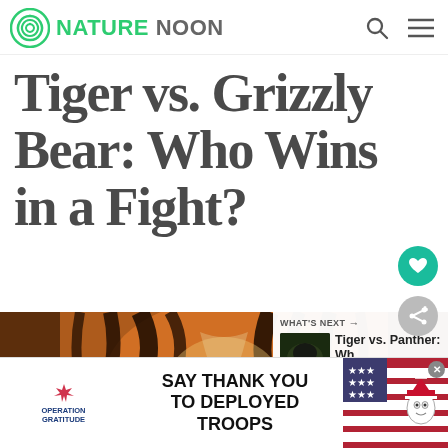NATURE NOON
Tiger vs. Grizzly Bear: Who Wins in a Fight?
[Figure (photo): Close-up overhead view of a tiger's striped back/head with orange, black, and white fur pattern on dark background]
WHAT'S NEXT → Tiger vs. Panther: Wh...
[Figure (photo): Small thumbnail of panther/black animal in dark setting]
[Figure (infographic): Operation Gratitude advertisement banner: SAY THANK YOU TO DEPLOYED TROOPS with patriotic imagery]